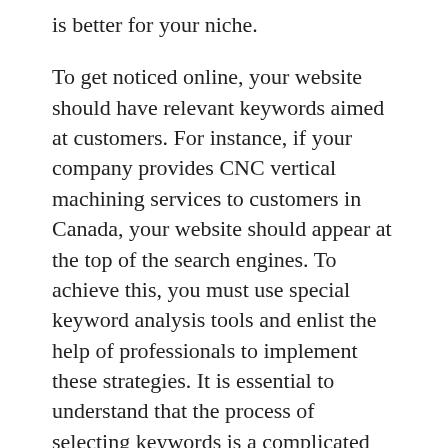is better for your niche.
To get noticed online, your website should have relevant keywords aimed at customers. For instance, if your company provides CNC vertical machining services to customers in Canada, your website should appear at the top of the search engines. To achieve this, you must use special keyword analysis tools and enlist the help of professionals to implement these strategies. It is essential to understand that the process of selecting keywords is a complicated process, and you may want to hire a professional to handle it for you.
In addition to research on keywords, you should also consider the audience. You want to target your customers' needs, as these will determine